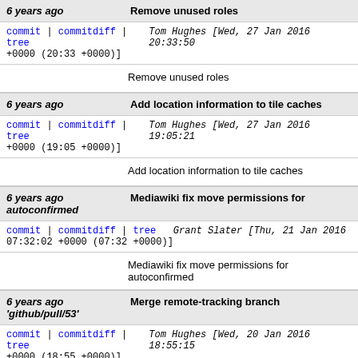| 6 years ago | Remove unused roles |
| commit | commitdiff | tree | Tom Hughes [Wed, 27 Jan 2016 20:33:50 +0000 (20:33 +0000)] |
|  | Remove unused roles |
| 6 years ago | Add location information to tile caches |
| commit | commitdiff | tree | Tom Hughes [Wed, 27 Jan 2016 19:05:21 +0000 (19:05 +0000)] |
|  | Add location information to tile caches |
| 6 years ago
autoconfirmed | Mediawiki fix move permissions for autoconfirmed |
| commit | commitdiff | tree | Grant Slater [Thu, 21 Jan 2016 07:32:02 +0000 (07:32 +0000)] |
|  | Mediawiki fix move permissions for autoconfirmed |
| 6 years ago
'github/pull/53' | Merge remote-tracking branch 'github/pull/53' |
| commit | commitdiff | tree | Tom Hughes [Wed, 20 Jan 2016 18:55:15 +0000 (18:55 +0000)] |